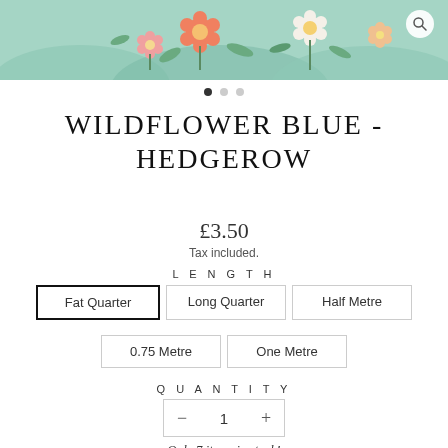[Figure (illustration): Floral pattern banner with mint/teal background, colorful wildflowers including orange, white, and pink flowers with green leaves. Search icon (magnifying glass) in top right corner.]
WILDFLOWER BLUE - HEDGEROW
£3.50
Tax included.
LENGTH
Fat Quarter
Long Quarter
Half Metre
0.75 Metre
One Metre
QUANTITY
1
Only 7 items in stock!